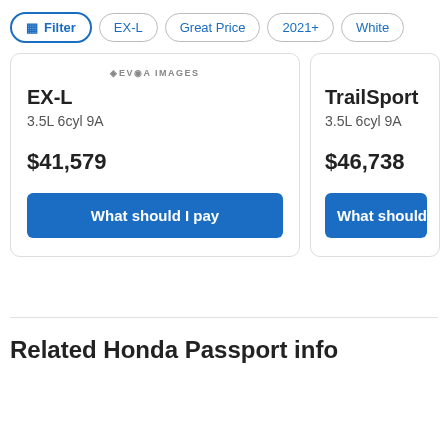Filter | EX-L | Great Price | 2021+ | White
EX-L
3.5L 6cyl 9A
$41,579
What should I pay
TrailSport
3.5L 6cyl 9A
$46,738
What should I…
Related Honda Passport info